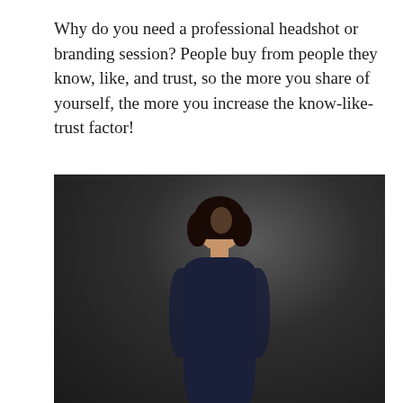Why do you need a professional headshot or branding session? People buy from people they know, like, and trust, so the more you share of yourself, the more you increase the know-like-trust factor!
[Figure (photo): Professional branding photo of a woman with dark hair wearing a dark navy lace long-sleeve dress, posed against a dark grey studio background. She is wearing earrings and a necklace.]